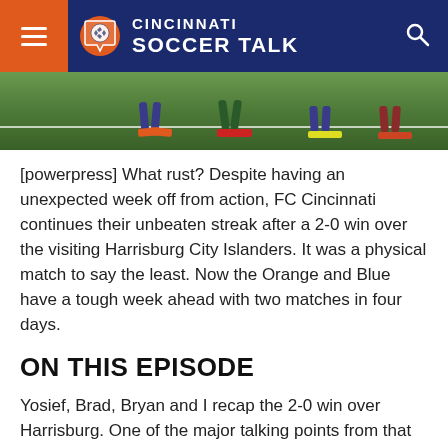Cincinnati Soccer Talk
[Figure (photo): Soccer players on a green grass field, partial view of legs and cleats near a white field line]
[powerpress] What rust? Despite having an unexpected week off from action, FC Cincinnati continues their unbeaten streak after a 2-0 win over the visiting Harrisburg City Islanders. It was a physical match to say the least. Now the Orange and Blue have a tough week ahead with two matches in four days.
ON THIS EPISODE
Yosief, Brad, Bryan and I recap the 2-0 win over Harrisburg. One of the major talking points from that match was the red card for Harrisburgh's Aaron Wheeler after he elbowed CB Harrison Delbridge in the face when the two jumped for a header. Not to mention the kick to the face just before halftime that was missed by everyone during the broadcast.